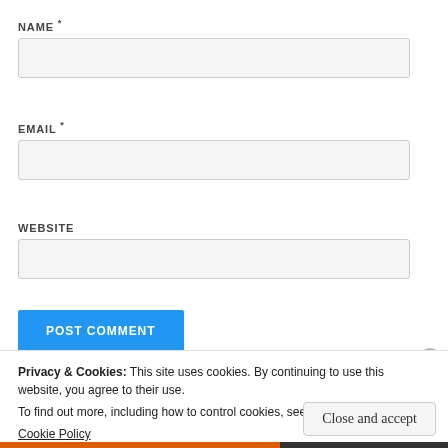NAME *
[Figure (other): Empty text input field for NAME]
EMAIL *
[Figure (other): Empty text input field for EMAIL]
WEBSITE
[Figure (other): Empty text input field for WEBSITE]
[Figure (other): POST COMMENT button (blue)]
Privacy & Cookies: This site uses cookies. By continuing to use this website, you agree to their use.
To find out more, including how to control cookies, see here:
Cookie Policy
[Figure (other): Close and accept button]